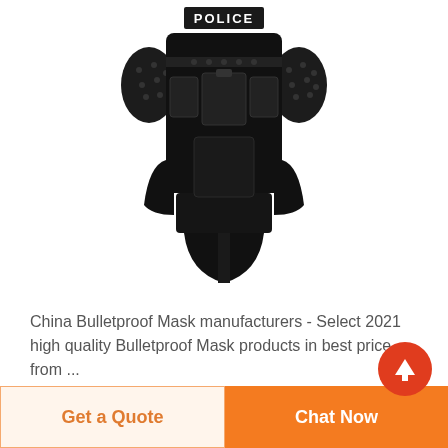[Figure (photo): A black tactical police bulletproof vest with 'POLICE' text on the chest plate, multiple pouches and straps, shoulder armor pads, and groin/side protection panels, displayed on a white background.]
China Bulletproof Mask manufacturers - Select 2021 high quality Bulletproof Mask products in best price from certified Chinese Police Equipment, Bulletproof Vest...